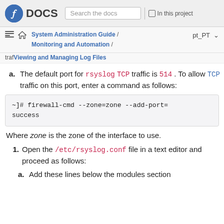DOCS | Search the docs | In this project
System Administration Guide / Monitoring and Automation / Viewing and Managing Log Files  pt_PT
a. The default port for rsyslog TCP traffic is 514. To allow TCP traffic on this port, enter a command as follows:
~]# firewall-cmd --zone=zone --add-port=
success
Where zone is the zone of the interface to use.
1. Open the /etc/rsyslog.conf file in a text editor and proceed as follows:
a. Add these lines below the modules section